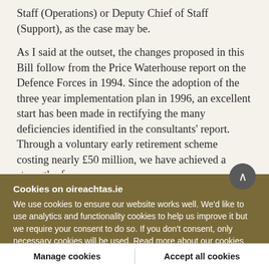Staff (Operations) or Deputy Chief of Staff (Support), as the case may be.
As I said at the outset, the changes proposed in this Bill follow from the Price Waterhouse report on the Defence Forces in 1994. Since the adoption of the three year implementation plan in 1996, an excellent start has been made in rectifying the many deficiencies identified in the consultants' report. Through a voluntary early retirement scheme costing nearly £50 million, we have achieved a strength of
Cookies on oireachtas.ie
We use cookies to ensure our website works well. We'd like to use analytics and functionality cookies to help us improve it but we require your consent to do so. If you don't consent, only necessary cookies will be used. Read more about our cookies
Manage cookies
Accept all cookies